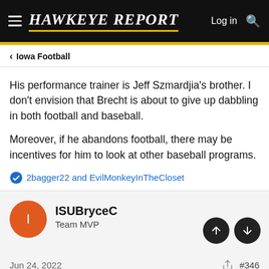HAWKEYE REPORT — Log in
< Iowa Football
His performance trainer is Jeff Szmardjia's brother. I don't envision that Brecht is about to give up dabbling in both football and baseball.
Moreover, if he abandons football, there may be incentives for him to look at other baseball programs.
2bagger22 and EvilMonkeyInTheCloset
ISUBryceC
Team MVP
Jun 24, 2022   #346